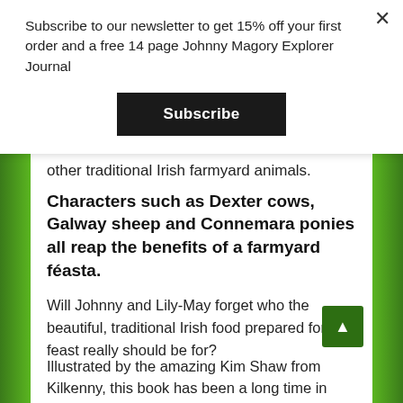Subscribe to our newsletter to get 15% off your first order and a free 14 page Johnny Magory Explorer Journal
Subscribe
other traditional Irish farmyard animals.
Characters such as Dexter cows, Galway sheep and Connemara ponies all reap the benefits of a farmyard féasta.
Will Johnny and Lily-May forget who the beautiful, traditional Irish food prepared for the feast really should be for?
Illustrated by the amazing Kim Shaw from Kilkenny, this book has been a long time in